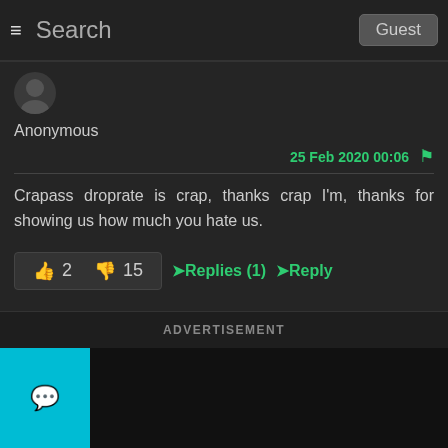Search  Guest
Anonymous
25 Feb 2020 00:06
Crapass droprate is crap, thanks crap I'm, thanks for showing us how much you hate us.
👍 2   👎 15   ➤Replies (1)   ➤Reply
ADVERTISEMENT
↑↑ ↑↑